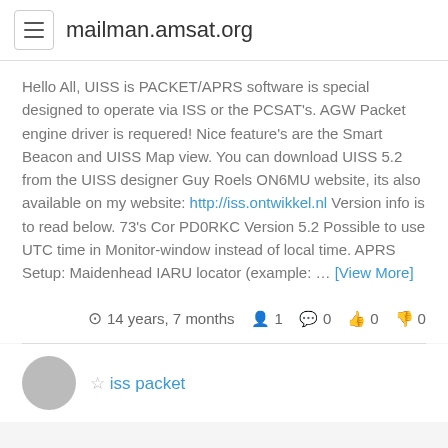mailman.amsat.org
Hello All, UISS is PACKET/APRS software is special designed to operate via ISS or the PCSAT's. AGW Packet engine driver is requered! Nice feature's are the Smart Beacon and UISS Map view. You can download UISS 5.2 from the UISS designer Guy Roels ON6MU website, its also available on my website: http://iss.ontwikkel.nl Version info is to read below. 73's Cor PD0RKC Version 5.2 Possible to use UTC time in Monitor-window instead of local time. APRS Setup: Maidenhead IARU locator (example: … [View More]
14 years, 7 months  1  0  0  0
iss packet